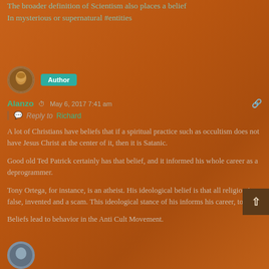The broader definition of Scientism also places a belief in mysterious or supernatural #entities
[Figure (photo): Round avatar photo of a person with a golden/brown helmet or mask appearance]
Author
Alanzo   May 6, 2017 7:41 am
Reply to Richard
A lot of Christians have beliefs that if a spiritual practice such as occultism does not have Jesus Christ at the center of it, then it is Satanic.
Good old Ted Patrick certainly has that belief, and it informed his whole career as a deprogrammer.
Tony Ortega, for instance, is an atheist. His ideological belief is that all religion is false, invented and a scam. This ideological stance of his informs his career, too.
Beliefs lead to behavior in the Anti Cult Movement.
[Figure (photo): Partial round avatar at bottom of page, grey/blue tones]